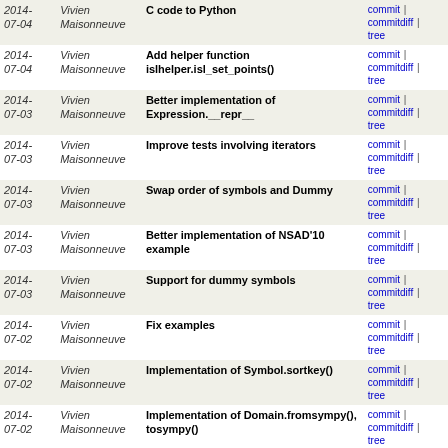| Date | Author | Message | Links |
| --- | --- | --- | --- |
| 2014-07-04 | Vivien Maisonneuve | C code to Python | commit | commitdiff | tree |
| 2014-07-04 | Vivien Maisonneuve | Add helper function islhelper.isl_set_points() | commit | commitdiff | tree |
| 2014-07-03 | Vivien Maisonneuve | Better implementation of Expression.__repr__ | commit | commitdiff | tree |
| 2014-07-03 | Vivien Maisonneuve | Improve tests involving iterators | commit | commitdiff | tree |
| 2014-07-03 | Vivien Maisonneuve | Swap order of symbols and Dummy | commit | commitdiff | tree |
| 2014-07-03 | Vivien Maisonneuve | Better implementation of NSAD'10 example | commit | commitdiff | tree |
| 2014-07-03 | Vivien Maisonneuve | Support for dummy symbols | commit | commitdiff | tree |
| 2014-07-02 | Vivien Maisonneuve | Fix examples | commit | commitdiff | tree |
| 2014-07-02 | Vivien Maisonneuve | Implementation of Symbol.sortkey() | commit | commitdiff | tree |
| 2014-07-02 | Vivien Maisonneuve | Implementation of Domain.fromsympy(), tosympy() | commit | commitdiff | tree |
| 2014-07-02 | Vivien Maisonneuve | Rename Constant into Rational | commit | commitdiff | tree |
| 2014-07-02 | Vivien Maisonneuve | Cleaner and faster linear expressions | commit | commitdiff | tree |
| 2014-07-02 | Vivien Maisonneuve | New example: basic implementation of ACI'10 | commit | commitdiff | tree |
| 2014-07-02 | Vivien Maisonneuve | Make symbolnames return a tuple | commit | commitdiff | tree |